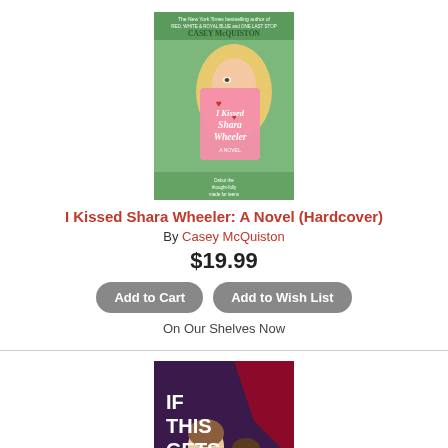[Figure (photo): Book cover of 'I Kissed Shara Wheeler' by Casey McQuiston — green background with illustrated blonde girl holding a pink envelope]
I Kissed Shara Wheeler: A Novel (Hardcover)
By Casey McQuiston
$19.99
Add to Cart | Add to Wish List
On Our Shelves Now
[Figure (photo): Book cover of 'If This Gets Out' by Sophie Gonzales & Cale Dietrich — dark purple/maroon background with two illustrated young men]